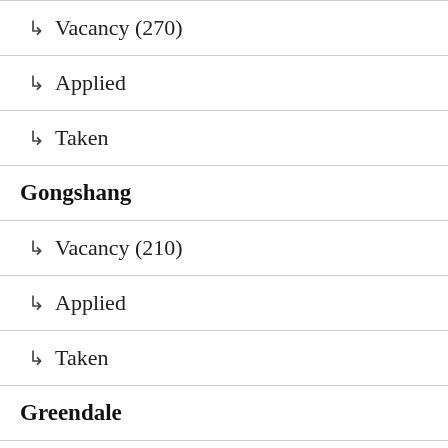↳ Vacancy (270)
↳ Applied
↳ Taken
Gongshang
↳ Vacancy (210)
↳ Applied
↳ Taken
Greendale
↳ Vacancy (240)
↳ Applied